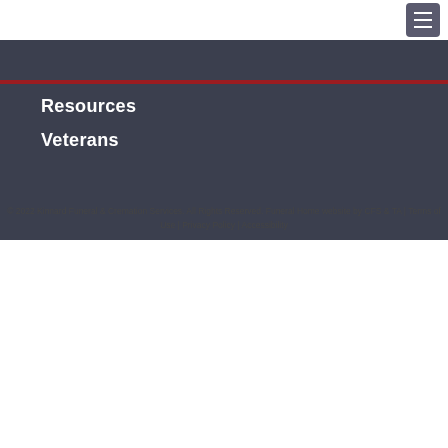Resources
Veterans
© 2022 Kinnard Funeral & Cremation Services. All Rights Reserved. Funeral Home website by CFS & TA | Terms of Use | Privacy Policy | Accessibility